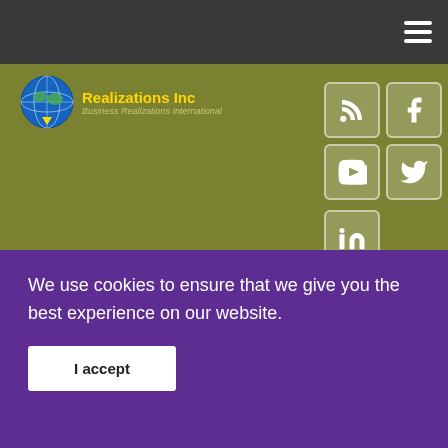[Figure (screenshot): Website header with dark top navigation bar with hamburger menu icon]
[Figure (logo): Realizations Inc logo with globe icon and text 'Realizations Inc' and 'Business Realizations International']
[Figure (infographic): Social media icons: RSS feed, Facebook, YouTube, Twitter, LinkedIn on olive green background]
Money Management
©Arlene R. Taylor PhD
[Figure (screenshot): Language selection area with flag icons for English, French, German, Italian, Portuguese, Russian, Spanish and a Select Language dropdown]
[Figure (screenshot): Titles dropdown menu panel showing Titles header, Adapting, and Addictive items]
Search
We use cookies to ensure that we give you the best experience on our website.
I accept